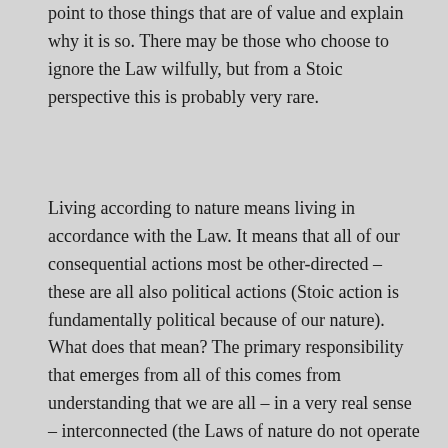point to those things that are of value and explain why it is so. There may be those who choose to ignore the Law wilfully, but from a Stoic perspective this is probably very rare.
Living according to nature means living in accordance with the Law. It means that all of our consequential actions most be other-directed – these are all also political actions (Stoic action is fundamentally political because of our nature). What does that mean? The primary responsibility that emerges from all of this comes from understanding that we are all – in a very real sense – interconnected (the Laws of nature do not operate in isolation). When we act contrary to nature – which really means acting in self-serving ways – we are ignoring our divine